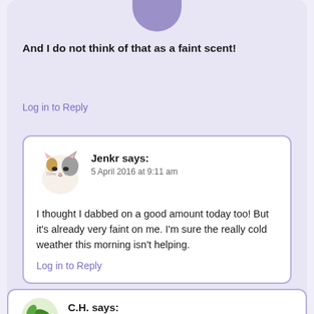[Figure (illustration): Partial purple/lavender circular avatar at top, cropped]
And I do not think of that as a faint scent!
Log in to Reply
Jenkr says:
5 April 2016 at 9:11 am
[Figure (illustration): Cartoon cat face avatar (calico cat) for user Jenkr]
I thought I dabbed on a good amount today too! But it's already very faint on me. I'm sure the really cold weather this morning isn't helping.
Log in to Reply
C.H. says:
5 April 2016 at 4:31